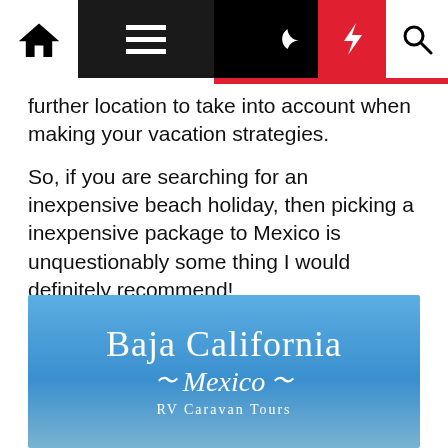Navigation bar with home, menu, moon, bolt, and search icons
further location to take into account when making your vacation strategies.
So, if you are searching for an inexpensive beach holiday, then picking a inexpensive package to Mexico is unquestionably some thing I would definitely recommend!
Delight in Economical Holidays In Mexico
Tenting
[Figure (photo): Image showing 'Baja California Mexico RV Caravan Tours' text on a blue sky background]